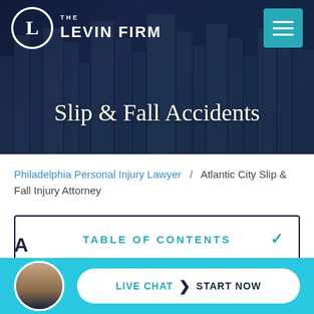[Figure (screenshot): The Levin Firm law office website hero section with dark cityscape background, logo top-left, hamburger menu top-right, and 'Slip & Fall Accidents' title centered]
Slip & Fall Accidents
Philadelphia Personal Injury Lawyer / Atlantic City Slip & Fall Injury Attorney
TABLE OF CONTENTS
LIVE CHAT START NOW